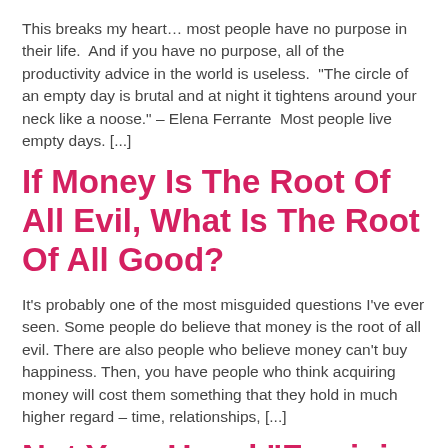This breaks my heart… most people have no purpose in their life.  And if you have no purpose, all of the productivity advice in the world is useless.  "The circle of an empty day is brutal and at night it tightens around your neck like a noose." – Elena Ferrante  Most people live empty days. [...]
If Money Is The Root Of All Evil, What Is The Root Of All Good?
It's probably one of the most misguided questions I've ever seen. Some people do believe that money is the root of all evil. There are also people who believe money can't buy happiness. Then, you have people who think acquiring money will cost them something that they hold in much higher regard – time, relationships, [...]
Not Your Usual "Feminism"